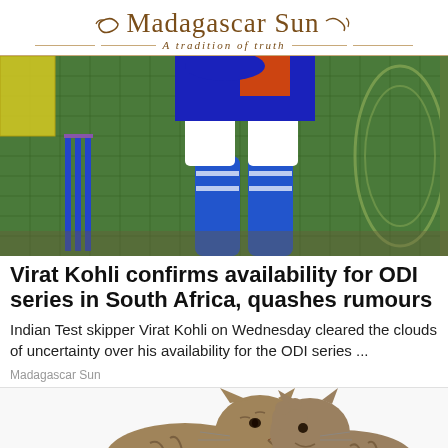Madagascar Sun — A tradition of truth
[Figure (photo): Cricket batsman in blue pads and gloves practicing at a net session, with cricket stumps visible on the left and a practice net in the background.]
Virat Kohli confirms availability for ODI series in South Africa, quashes rumours
Indian Test skipper Virat Kohli on Wednesday cleared the clouds of uncertainty over his availability for the ODI series ...
Madagascar Sun
[Figure (photo): Two tabby cats side by side: left cat facing right with mouth open, right cat facing left with paw raised.]